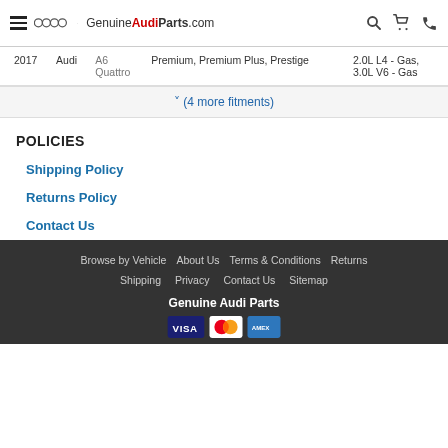GenuineAudiParts.com
| Year | Make | Model | Trim | Engine |
| --- | --- | --- | --- | --- |
| 2017 | Audi | A6 Quattro | Premium, Premium Plus, Prestige | 2.0L L4 - Gas, 3.0L V6 - Gas |
(4 more fitments)
POLICIES
Shipping Policy
Returns Policy
Contact Us
Browse by Vehicle  About Us  Terms & Conditions  Returns  Shipping  Privacy  Contact Us  Sitemap  Genuine Audi Parts